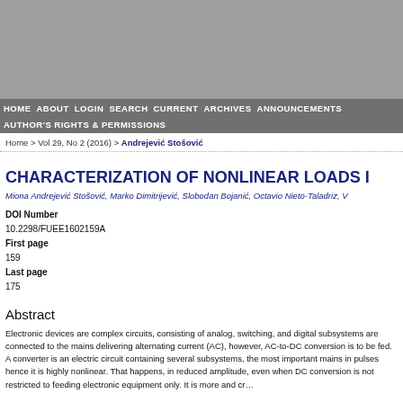HOME   ABOUT   LOGIN   SEARCH   CURRENT   ARCHIVES   ANNOUNCEMENTS   AUTHOR'S RIGHTS & PERMISSIONS
Home > Vol 29, No 2 (2016) > Andrejević Stošović
CHARACTERIZATION OF NONLINEAR LOADS I…
Miona Andrejević Stošović, Marko Dimitrijević, Slobodan Bojanić, Octavio Nieto-Taladriz, V…
DOI Number
10.2298/FUEE1602159A
First page
159
Last page
175
Abstract
Electronic devices are complex circuits, consisting of analog, switching, and digital subsystems, are connected to the mains delivering alternating current (AC), however, AC-to-DC conversion is to be fed. A converter is an electric circuit containing several subsystems, the most important mains in pulses hence it is highly nonlinear. That happens, in reduced amplitude, even when DC conversion is not restricted to feeding electronic equipment only. It is more and cr…